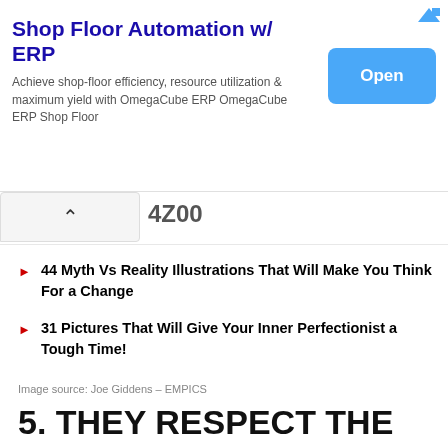[Figure (screenshot): Advertisement banner for Shop Floor Automation with ERP. Title 'Shop Floor Automation w/ ERP', description text, and a blue 'Open' button on the right.]
[Figure (screenshot): Navigation bar with up arrow chevron and partial number text.]
44 Myth Vs Reality Illustrations That Will Make You Think For a Change
31 Pictures That Will Give Your Inner Perfectionist a Tough Time!
Image source: Joe Giddens – EMPICS
5. THEY RESPECT THE WAY THE STAIRS GO
[Figure (screenshot): Bottom advertisement for Macy's with text 'KISS BORING LIPS GOODBYE', a 'SHOP NOW' button, a photo of a woman, and the Macy's star logo.]